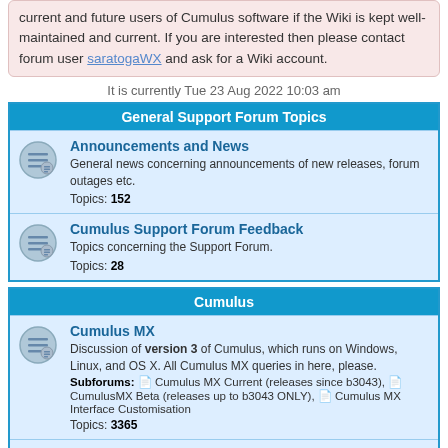current and future users of Cumulus software if the Wiki is kept well-maintained and current. If you are interested then please contact forum user saratogaWX and ask for a Wiki account.
It is currently Tue 23 Aug 2022 10:03 am
General Support Forum Topics
Announcements and News
General news concerning announcements of new releases, forum outages etc.
Topics: 152
Cumulus Support Forum Feedback
Topics concerning the Support Forum.
Topics: 28
Cumulus
Cumulus MX
Discussion of version 3 of Cumulus, which runs on Windows, Linux, and OS X. All Cumulus MX queries in here, please.
Subforums: Cumulus MX Current (releases since b3043), CumulusMX Beta (releases up to b3043 ONLY), Cumulus MX Interface Customisation
Topics: 3365
Cumulus 1 (No longer being developed)
Discussion and questions about Cumulus weather station software version 1. This section is the main place to get help with Cumulus 1 software developed by Steve Loft that ceased development in November 2014.
Topics: 4007